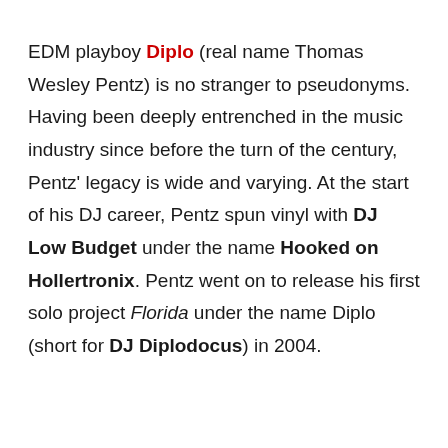EDM playboy Diplo (real name Thomas Wesley Pentz) is no stranger to pseudonyms. Having been deeply entrenched in the music industry since before the turn of the century, Pentz' legacy is wide and varying. At the start of his DJ career, Pentz spun vinyl with DJ Low Budget under the name Hooked on Hollertronix. Pentz went on to release his first solo project Florida under the name Diplo (short for DJ Diplodocus) in 2004.